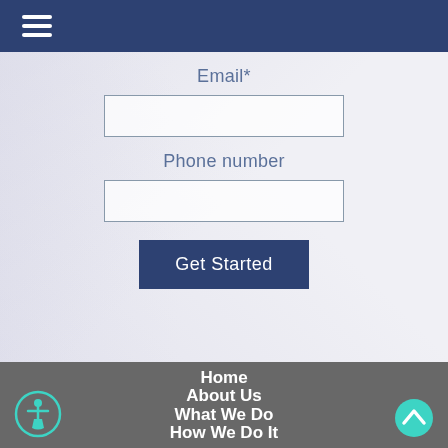Navigation bar with hamburger menu
Email*
Phone number
Get Started
Home
About Us
What We Do
How We Do It
[Figure (illustration): Accessibility wheelchair icon in teal circle, bottom left]
[Figure (illustration): Back to top arrow icon in teal circle, bottom right]